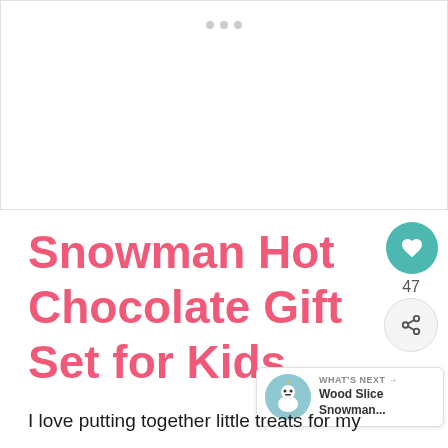[Figure (photo): Large image placeholder area with light border at top of page, with three small dots indicating an image carousel]
Snowman Hot Chocolate Gift Set for Kids
I love putting together little treats for my